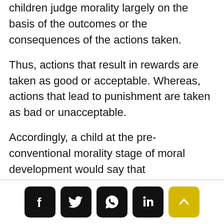children judge morality largely on the basis of the outcomes or the consequences of the actions taken.
Thus, actions that result in rewards are taken as good or acceptable. Whereas, actions that lead to punishment are taken as bad or unacceptable.
Accordingly, a child at the pre-conventional morality stage of moral development would say that
[social share buttons: Facebook, Twitter, WhatsApp, LinkedIn, scroll-to-top]